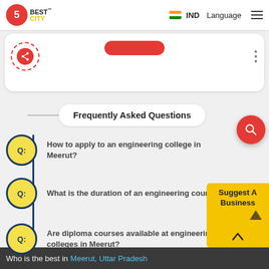5 Best City | IND | Language
Frequently Asked Questions
Q: How to apply to an engineering college in Meerut?
Q: What is the duration of an engineering course?
Q: Are diploma courses available at engineering colleges in Meerut?
Who is the best in Meerut, Uttar Pradesh